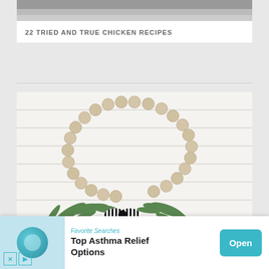[Figure (photo): Partial view of a chicken dish photo at the top of the card]
22 TRIED AND TRUE CHICKEN RECIPES
[Figure (photo): DIY farmhouse wood bead wreath — a circular wreath made of natural wood beads with greenery and a black-and-white striped bow at the bottom, hanging on a white shiplap wall]
DIY FARMHOUSE WOOD BEAD WREATH
[Figure (photo): Partial view of a food/recipe photo at the bottom of the page, showing a light blue background with what appears to be a creamy dish]
Favorite Searches
Top Asthma Relief Options
Open